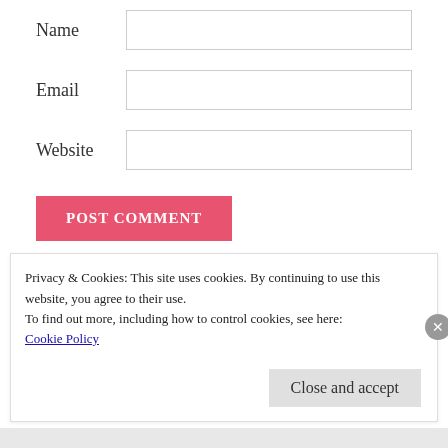Name
Email
Website
POST COMMENT
Notify me of new comments via email.
Notify me of new posts via email.
Privacy & Cookies: This site uses cookies. By continuing to use this website, you agree to their use.
To find out more, including how to control cookies, see here:
Cookie Policy
Close and accept